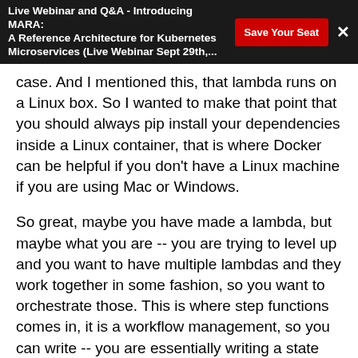Live Webinar and Q&A - Introducing MARA: A Reference Architecture for Kubernetes Microservices (Live Webinar Sept 29th,...
case. And I mentioned this, that lambda runs on a Linux box. So I wanted to make that point that you should always pip install your dependencies inside a Linux container, that is where Docker can be helpful if you don't have a Linux machine if you are using Mac or Windows.
So great, maybe you have made a lambda, but maybe what you are -- you are trying to level up and you want to have multiple lambdas and they work together in some fashion, so you want to orchestrate those. This is where step functions comes in, it is a workflow management, so you can write -- you are essentially writing a state machine in code, this is one example, the simplest example is: you have the first blue lambda will run, and it will